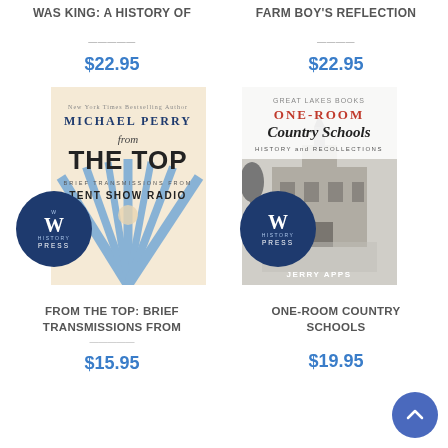WAS KING: A HISTORY OF
FARM BOY'S REFLECTION
$22.95
$22.95
[Figure (photo): Book cover: From the Top: Brief Transmissions from Tent Show Radio by Michael Perry, with Wisconsin History Press badge]
[Figure (photo): Book cover: One-Room Country Schools: History and Recollections by Jerry Apps, with Wisconsin History Press badge]
FROM THE TOP: BRIEF TRANSMISSIONS FROM TENT SHOW RADIO
ONE-ROOM COUNTRY SCHOOLS
$15.95
$19.95